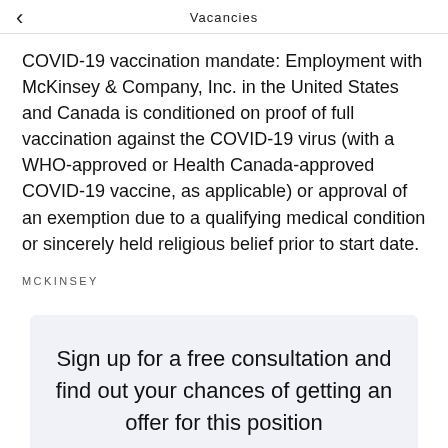Vacancies
COVID-19 vaccination mandate: Employment with McKinsey & Company, Inc. in the United States and Canada is conditioned on proof of full vaccination against the COVID-19 virus (with a WHO-approved or Health Canada-approved COVID-19 vaccine, as applicable) or approval of an exemption due to a qualifying medical condition or sincerely held religious belief prior to start date.
MCKINSEY
Sign up for a free consultation and find out your chances of getting an offer for this position